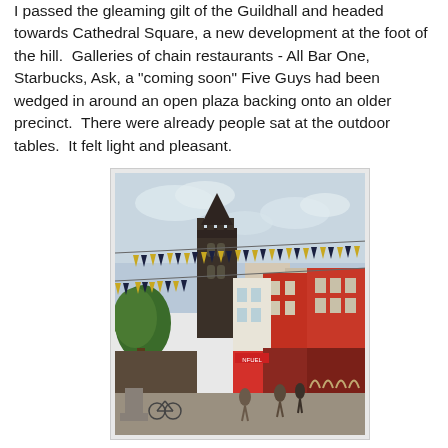I passed the gleaming gilt of the Guildhall and headed towards Cathedral Square, a new development at the foot of the hill.  Galleries of chain restaurants - All Bar One, Starbucks, Ask, a "coming soon" Five Guys had been wedged in around an open plaza backing onto an older precinct.  There were already people sat at the outdoor tables.  It felt light and pleasant.
[Figure (photo): Street scene showing Cathedral Square with bunting flags strung across the street, a Gothic church tower in the background, and red-brick buildings with shops on the right. People and bicycles visible at street level.]